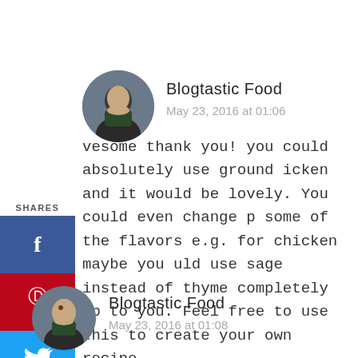[Figure (photo): Circular avatar of a man holding something green, used as commenter profile picture for Blogtastic Food (first comment)]
Blogtastic Food
May 23, 2016 at 01:06
vesome thank you! you could absolutely use ground icken and it would be lovely. You could even change some of the flavors e.g. for chicken maybe you uld use sage instead of thyme completely up to you. Feel free to use this to create your own recipe.
[Figure (infographic): Social sharing sidebar with Facebook, Pinterest (8), Twitter, Yummly, Mix, and Flipboard buttons]
[Figure (photo): Circular avatar of a man holding something green, used as commenter profile picture for Blogtastic Food (second comment)]
Blogtastic Food
May 23, 2016 at 01:08